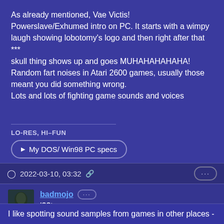As already mentioned, Vae Victis! Powerslave/Exhumed intro on PC. It starts with a wimpy laugh showing lobotomy's logo and then right after that *** skull thing shows up and goes MUHAHAHAHAHA! Random fart noises in Atari 2600 games, usually those meant you did something wrong. Lots and lots of fighting game sounds and voices
LO-RES, HI–FUN
▶ My DOS/ Win98 PC specs
2022-03-10, 03:32
badmojo
l33t
I like spotting sound samples from games in other places -